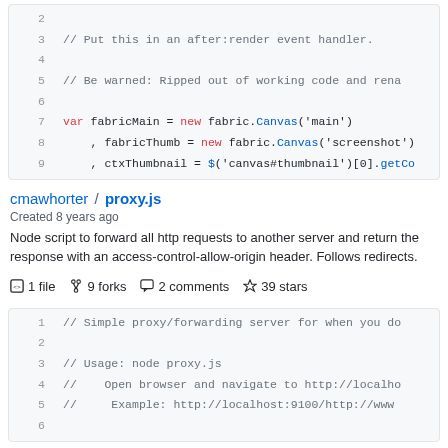[Figure (screenshot): Code block showing lines 2-9 of JavaScript code with fabric.Canvas references]
cmawhorter / proxy.js
Created 8 years ago
Node script to forward all http requests to another server and return the response with an access-control-allow-origin header. Follows redirects.
1 file   9 forks   2 comments   39 stars
[Figure (screenshot): Code block showing lines 1-6 of proxy.js with comments about simple proxy/forwarding server]